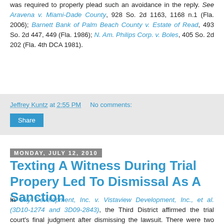was required to properly plead such an avoidance in the reply. See Aravena v. Miami-Dade County, 928 So. 2d 1163, 1168 n.1 (Fla. 2006); Barnett Bank of Palm Beach County v. Estate of Read, 493 So. 2d 447, 449 (Fla. 1986); N. Am. Philips Corp. v. Boles, 405 So. 2d 202 (Fla. 4th DCA 1981).
Jeffrey Kuntz at 2:55 PM   No comments:
Share
Monday, July 12, 2010
Texting A Witness During Trial Propery Led To Dismissal As A Sanction
In Sky Development, Inc. v. Vistaview Development, Inc., et al. (3D10-1274 and 3D09-2843), the Third District affirmed the trial court's final judgment after dismissing the lawsuit. There were two incidents, one at a deposition and one at trial. With regard to the incident at the deposition, the court